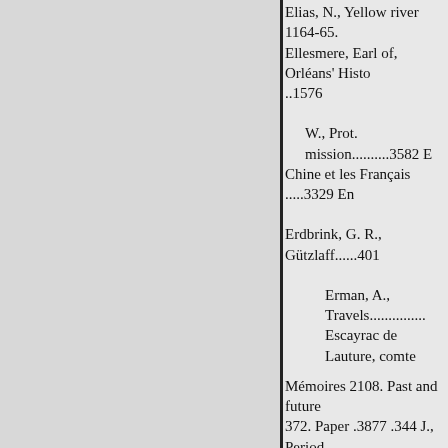Elias, N., Yellow river 1164-65.
Ellesmere, Earl of, Orléans' Histo...1576
W., Prot. mission..........3582 E
Chine et les Français .....3329 En
Erdbrink, G. R., Gützlaff......401
Erman, A., Travels..............
Escayrac de Lauture, comte
Mémoires 2108. Past and future
372. Paper .3877 .344 J., Period.
Ewer, F. H., Examination 2244.
voy...... ..1486
F
money
Evans, E., Romance
.......1925 Falot, Relations méd
portug. 1993. Imperio de la Ch...